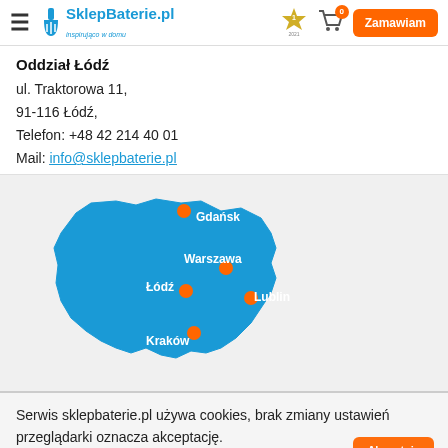SklepBaterie.pl inspirująco w domu — navigation header with logo, medal icon, cart (0), Zamawiam button
Oddział Łódź
ul. Traktorowa 11,
91-116 Łódź,
Telefon: +48 42 214 40 01
Mail: info@sklepbaterie.pl
[Figure (map): Blue silhouette map of Poland with orange pin markers on 5 cities: Gdańsk (top), Warszawa (center-right), Łódź (center-left), Lublin (right), Kraków (bottom-left). City names in white text.]
Serwis sklepbaterie.pl używa cookies, brak zmiany ustawień przeglądarki oznacza akceptację.